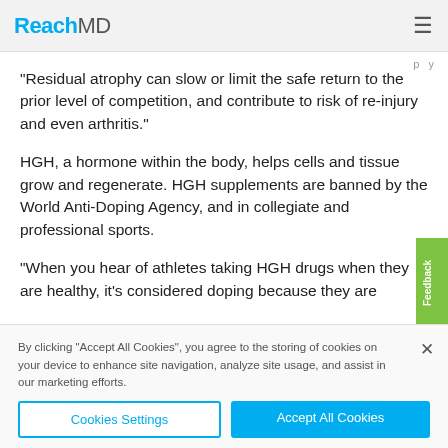ReachMD
“Residual atrophy can slow or limit the safe return to the prior level of competition, and contribute to risk of re-injury and even arthritis.”
HGH, a hormone within the body, helps cells and tissue grow and regenerate. HGH supplements are banned by the World Anti-Doping Agency, and in collegiate and professional sports.
“When you hear of athletes taking HGH drugs when they are healthy, it’s considered doping because they are
By clicking “Accept All Cookies”, you agree to the storing of cookies on your device to enhance site navigation, analyze site usage, and assist in our marketing efforts.
Cookies Settings
Accept All Cookies